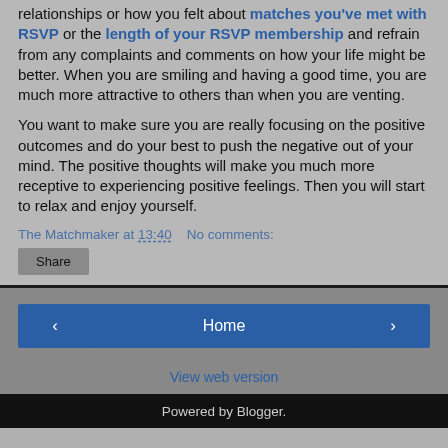relationships or how you felt about matches you've met with RSVP or the length of your RSVP membership and refrain from any complaints and comments on how your life might be better. When you are smiling and having a good time, you are much more attractive to others than when you are venting.
You want to make sure you are really focusing on the positive outcomes and do your best to push the negative out of your mind. The positive thoughts will make you much more receptive to experiencing positive feelings. Then you will start to relax and enjoy yourself.
The Matchmaker at 13:40   No comments:
Share
Home
View web version
Powered by Blogger.